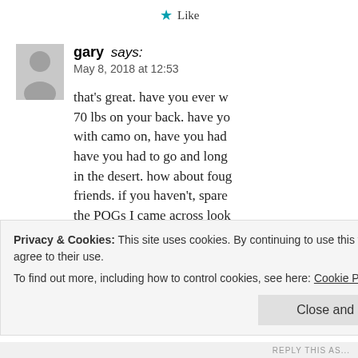★ Like
gary says:
May 8, 2018 at 12:53
that's great. have you ever w… 70 lbs on your back. have yo… with camo on, have you had … have you had to go and long … in the desert. how about foug… friends. if you haven't, spare … the POGs I came across look… battles, not you., what we br… misery, not snobbery by a bu…
Privacy & Cookies: This site uses cookies. By continuing to use this website, you agree to their use.
To find out more, including how to control cookies, see here: Cookie Policy
Close and accept